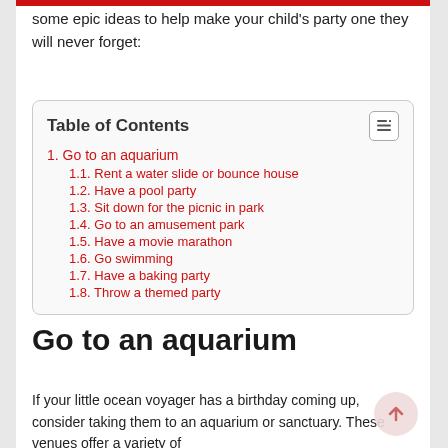some epic ideas to help make your child's party one they will never forget:
| Table of Contents |
| --- |
| 1. Go to an aquarium |
| 1.1. Rent a water slide or bounce house |
| 1.2. Have a pool party |
| 1.3. Sit down for the picnic in park |
| 1.4. Go to an amusement park |
| 1.5. Have a movie marathon |
| 1.6. Go swimming |
| 1.7. Have a baking party |
| 1.8. Throw a themed party |
Go to an aquarium
If your little ocean voyager has a birthday coming up, consider taking them to an aquarium or sanctuary. These venues offer a variety of